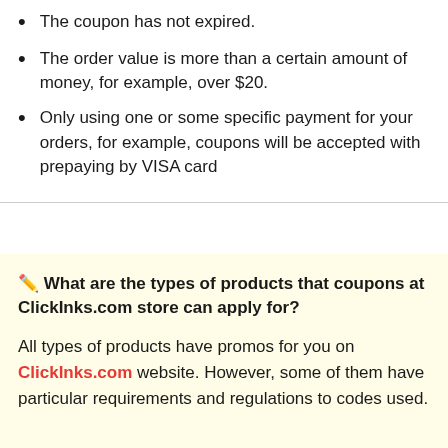The coupon has not expired.
The order value is more than a certain amount of money, for example, over $20.
Only using one or some specific payment for your orders, for example, coupons will be accepted with prepaying by VISA card
✏️ What are the types of products that coupons at ClickInks.com store can apply for?
All types of products have promos for you on ClickInks.com website. However, some of them have particular requirements and regulations to codes used.